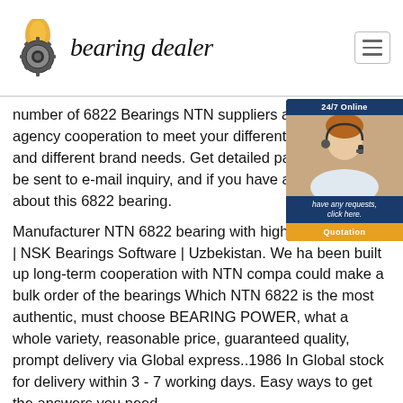bearing dealer
number of 6822 Bearings NTN suppliers and brand agency cooperation to meet your different 6822 quality and different brand needs. Get detailed parameters can be sent to e-mail inquiry, and if you have any questions about this 6822 bearing.
Manufacturer NTN 6822 bearing with high quality. 6822N | NSK Bearings Software | Uzbekistan. We have been built up long-term cooperation with NTN company, could make a bulk order of the bearings Which NTN 6822 is the most authentic, must choose BEARING POWER, what a whole variety, reasonable price, guaranteed quality, prompt delivery via Global express..1986 In Global stock for delivery within 3 - 7 working days. Easy ways to get the answers you need.
[Figure (other): 24/7 Online chat widget with customer service representative photo, message text, and Quotation button]
PACKAGE
[Figure (photo): Two product/packaging photos at bottom of page]